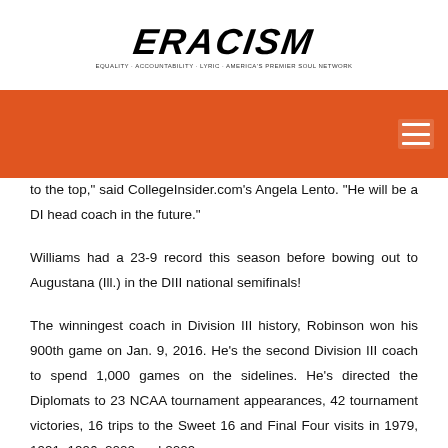ERACISM
to the top,” said CollegeInsider.com’s Angela Lento. “He will be a DI head coach in the future.”
Williams had a 23-9 record this season before bowing out to Augustana (Ill.) in the DIII national semifinals!
The winningest coach in Division III history, Robinson won his 900th game on Jan. 9, 2016. He’s the second Division III coach to spend 1,000 games on the sidelines. He’s directed the Diplomats to 23 NCAA tournament appearances, 42 tournament victories, 16 trips to the Sweet 16 and Final Four visits in 1979, 1991, 1996, 2000 and 2009.